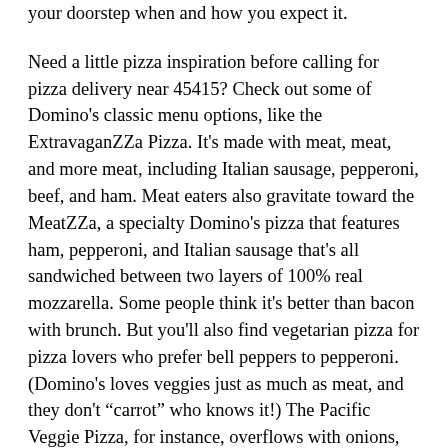your doorstep when and how you expect it.
Need a little pizza inspiration before calling for pizza delivery near 45415? Check out some of Domino's classic menu options, like the ExtravaganZZa Pizza. It's made with meat, meat, and more meat, including Italian sausage, pepperoni, beef, and ham. Meat eaters also gravitate toward the MeatZZa, a specialty Domino's pizza that features ham, pepperoni, and Italian sausage that's all sandwiched between two layers of 100% real mozzarella. Some people think it's better than bacon with brunch. But you'll also find vegetarian pizza for pizza lovers who prefer bell peppers to pepperoni. (Domino's loves veggies just as much as meat, and they don't “carrot” who knows it!) The Pacific Veggie Pizza, for instance, overflows with onions, roasted red peppers, fresh baby spinach, tomatoes, black olives, and mushrooms.
And if you'd rather put your own spin on a Domino's pizza, you can do that, too. There are more than 34 million different ways to make a Domino's pizza and Domino's Pizza Builder puts the power of pizza in your hands! Get started on your made-to-order pizza by selecting your favorite crust: thin and crunchy or pillowy and Brooklyn Style, hand-tossed with zesty garlic seasoning.